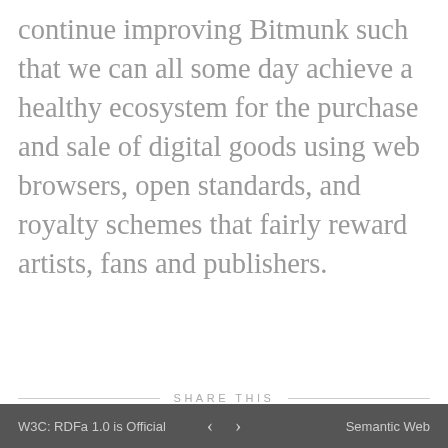continue improving Bitmunk such that we can all some day achieve a healthy ecosystem for the purchase and sale of digital goods using web browsers, open standards, and royalty schemes that fairly reward artists, fans and publishers.
SHARE THIS
♡ 0 likes  f  🐦  g+  𝑃  ✉
RELATED ARTICLES
Bitmunk 3.2.3: Speed Improvements
W3C: RDFa 1.0 is Official  ‹  ›  Semantic Web